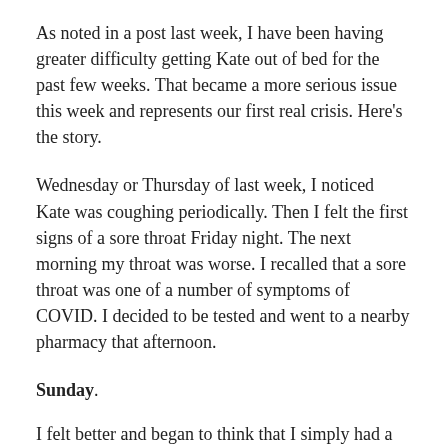As noted in a post last week, I have been having greater difficulty getting Kate out of bed for the past few weeks. That became a more serious issue this week and represents our first real crisis. Here's the story.
Wednesday or Thursday of last week, I noticed Kate was coughing periodically. Then I felt the first signs of a sore throat Friday night. The next morning my throat was worse. I recalled that a sore throat was one of a number of symptoms of COVID. I decided to be tested and went to a nearby pharmacy that afternoon.
Sunday.
I felt better and began to think that I simply had a traditional sore throat. This reinforced my belief that it might not be COVID. I hadn't had any other symptoms like fever, congestion, or any breathing difficulties.